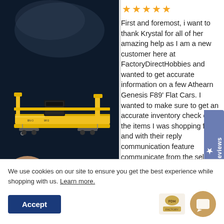[Figure (photo): A hand holding a yellow scale model train flat car (Athearn Genesis F89 Flat Car) against a dark navy/black background. The model is yellow with black details and small components visible.]
★★★★★
First and foremost, i want to thank Krystal for all of her amazing help as I am a new customer here at FactoryDirectHobbies and wanted to get accurate information on a few Athearn Genesis F89' Flat Cars. I wanted to make sure to get an accurate inventory check on the items I was shopping fo and with their reply communication feature communicate from the seller to buyers she was
We use cookies on our site to ensure you get the best experience while shopping with us. Learn more.
Accept
2/15/2022
informati...